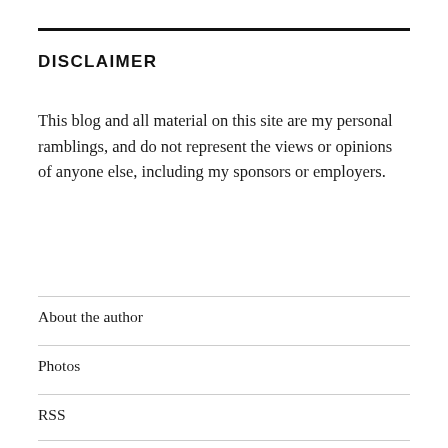DISCLAIMER
This blog and all material on this site are my personal ramblings, and do not represent the views or opinions of anyone else, including my sponsors or employers.
About the author
Photos
RSS